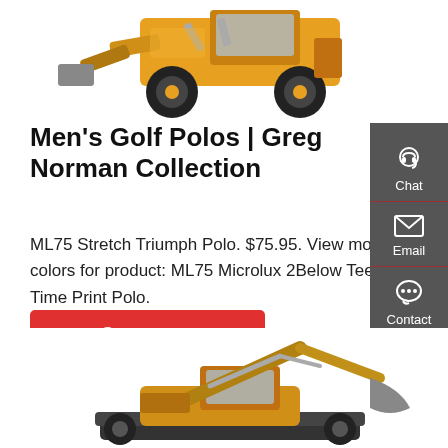[Figure (photo): Yellow front loader / wheel loader construction machine viewed from the front-right, on a white background, cropped at top of page]
Men's Golf Polos | Greg Norman Collection
ML75 Stretch Triumph Polo. $75.95. View more colors for product: ML75 Microlux 2Below Tee Time Print Polo.
[Figure (other): Red 'Get a quote' button]
[Figure (infographic): Dark grey sidebar with Chat, Email, and Contact icons and labels]
[Figure (photo): Yellow excavator construction machine viewed from the side, on a white background, cropped at bottom of page]